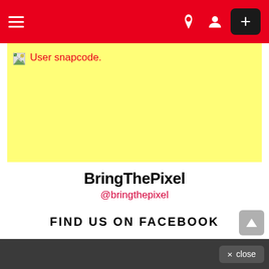Navigation bar with hamburger menu, dark mode icon, user icon, and + button
[Figure (screenshot): Yellow background area showing a broken image placeholder and red text 'User snapcode.']
BringThePixel
@bringthepixel
FIND US ON FACEBOOK
× close